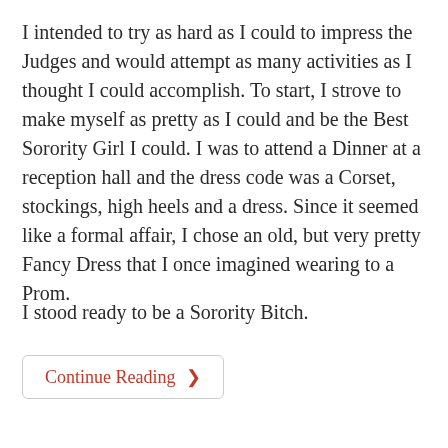I intended to try as hard as I could to impress the Judges and would attempt as many activities as I thought I could accomplish. To start, I strove to make myself as pretty as I could and be the Best Sorority Girl I could. I was to attend a Dinner at a reception hall and the dress code was a Corset, stockings, high heels and a dress. Since it seemed like a formal affair, I chose an old, but very pretty Fancy Dress that I once imagined wearing to a Prom.
I stood ready to be a Sorority Bitch.
Continue Reading ❯